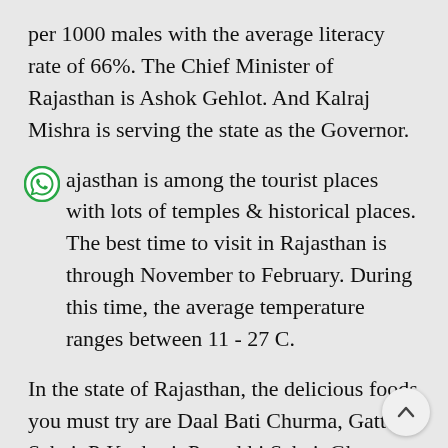per 1000 males with the average literacy rate of 66%. The Chief Minister of Rajasthan is Ashok Gehlot. And Kalraj Mishra is serving the state as the Governor.
Rajasthan is among the tourist places with lots of temples & historical places. The best time to visit in Rajasthan is through November to February. During this time, the average temperature ranges between 11 - 27 C.
In the state of Rajasthan, the delicious foods you must try are Daal Bati Churma, Gatte ki Sabzi, P... Kachori, Papad ki Sabzi, Ghevar, Gond ke Laddu, ...